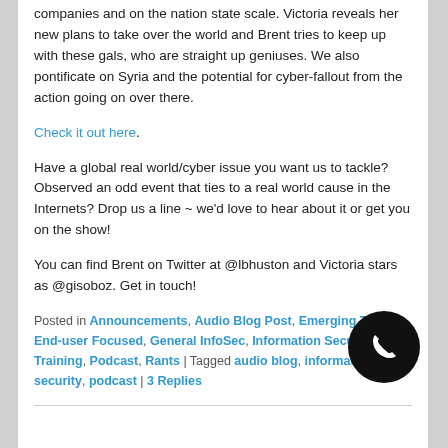companies and on the nation state scale. Victoria reveals her new plans to take over the world and Brent tries to keep up with these gals, who are straight up geniuses. We also pontificate on Syria and the potential for cyber-fallout from the action going on over there.
Check it out here.
Have a global real world/cyber issue you want us to tackle? Observed an odd event that ties to a real world cause in the Internets? Drop us a line ~ we'd love to hear about it or get you on the show!
You can find Brent on Twitter at @lbhuston and Victoria stars as @gisoboz. Get in touch!
Posted in Announcements, Audio Blog Post, Emerging Threats, End-user Focused, General InfoSec, Information Security Training, Podcast, Rants | Tagged audio blog, information security, podcast | 3 Replies